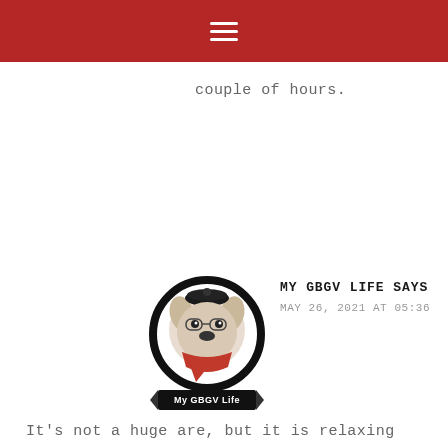≡
couple of hours.
[Figure (logo): My GBGV Life circular logo with cartoon dog character wearing a beret and red scarf, black circle border, banner at bottom reading 'My GBGV Life']
MY GBGV LIFE SAYS
MAY 26, 2021 AT 05:36
It's not a huge are, but it is relaxing and there is a lot to see.
[Figure (photo): Photo of a dog, appears to be a schnauzer or similar breed, close-up shot]
XENA AND LUCY SAYS
MAY 26, 2021 AT 12:77